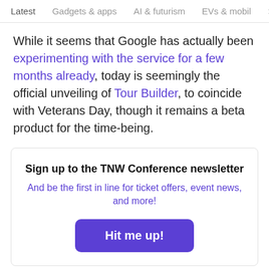Latest  Gadgets & apps  AI & futurism  EVs & mobil  >
While it seems that Google has actually been experimenting with the service for a few months already, today is seemingly the official unveiling of Tour Builder, to coincide with Veterans Day, though it remains a beta product for the time-being.
Sign up to the TNW Conference newsletter
And be the first in line for ticket offers, event news, and more!
Hit me up!